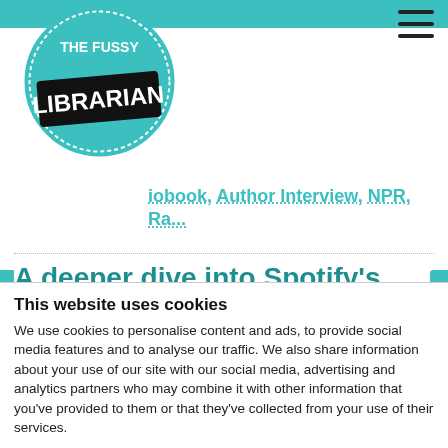[Figure (logo): The Fussy Librarian circular logo with teal background and dotted border, black label banner reading LIBRARIAN]
iobook, Author Interview, NPR, Ra...
A deeper dive into Spotify's latest moves
Posted on 07/01/2022 at 03:00 PM by Sadye Scott-Hainchek
Dan Holloway previously speculated on what Spotify's
This website uses cookies
We use cookies to personalise content and ads, to provide social media features and to analyse our traffic. We also share information about your use of our site with our social media, advertising and analytics partners who may combine it with other information that you've provided to them or that they've collected from your use of their services.